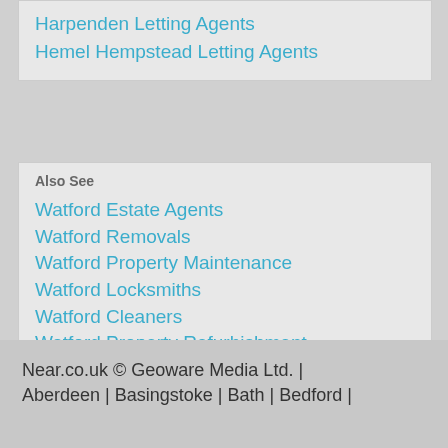Harpenden Letting Agents
Hemel Hempstead Letting Agents
Also See
Watford Estate Agents
Watford Removals
Watford Property Maintenance
Watford Locksmiths
Watford Cleaners
Watford Property Refurbishment
Watford Letting Agents
Watford Carpet Cleaning
Near.co.uk © Geoware Media Ltd. | Aberdeen | Basingstoke | Bath | Bedford |